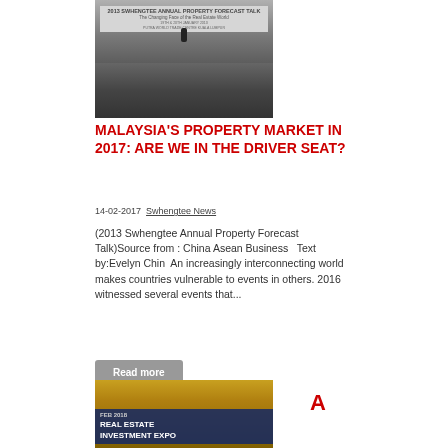[Figure (photo): Conference scene with speaker on stage and audience, banner reading 2013 Swhengtee Annual Property Forecast Talk - The Changing Face of the Real Estate World, 19th & 20th January 2013, Putra World Trade Centre Kuala Lumpur]
MALAYSIA'S PROPERTY MARKET IN 2017: ARE WE IN THE DRIVER SEAT?
14-02-2017  Swhengtee News
(2013 Swhengtee Annual Property Forecast Talk)Source from : China Asean Business   Text by:Evelyn Chin  An increasingly interconnecting world makes countries vulnerable to events in others. 2016 witnessed several events that...
Read more
[Figure (photo): Real Estate Investment Expo banner, FEB 2018 label visible]
A